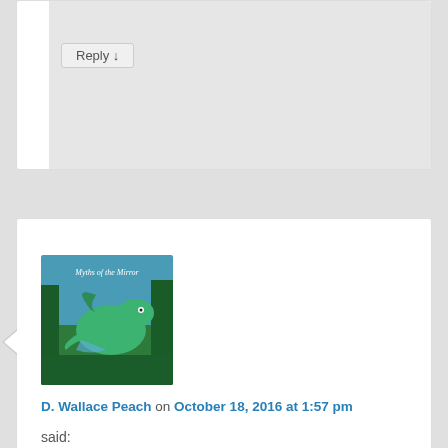Reply ↓
[Figure (illustration): Avatar image showing a fantasy dragon illustration with blue/green colors and text 'Myths of the Mirror']
D. Wallace Peach on October 18, 2016 at 1:57 pm
said:
Sounds like a good one. Thanks for the recommendation 🙂
★ Like
Reply ↓
[Figure (photo): Avatar photo of Judith Barrow, older woman with short gray hair]
Judith Barrow on October 18, 2016 at 5:44 pm